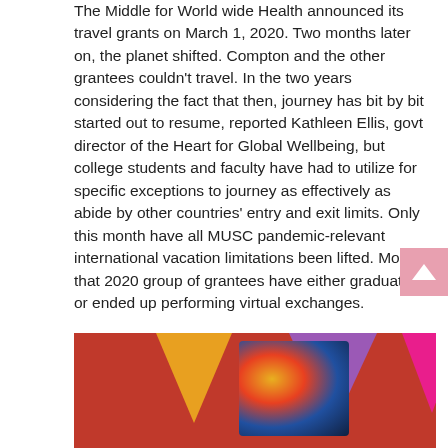The Middle for World wide Health announced its travel grants on March 1, 2020. Two months later on, the planet shifted. Compton and the other grantees couldn't travel. In the two years considering the fact that then, journey has bit by bit started out to resume, reported Kathleen Ellis, govt director of the Heart for Global Wellbeing, but college students and faculty have had to utilize for specific exceptions to journey as effectively as abide by other countries' entry and exit limits. Only this month have all MUSC pandemic-relevant international vacation limitations been lifted. Most of that 2020 group of grantees have either graduated or ended up performing virtual exchanges.

So it was particularly enjoyable for heart team members to be able to ship Compton off with her extensive-awaited grant.
[Figure (photo): Colorful decorative image with bunting triangles in yellow, purple, and pink against a red background, with a central decorative artwork piece featuring blue, gold, and red patterns.]